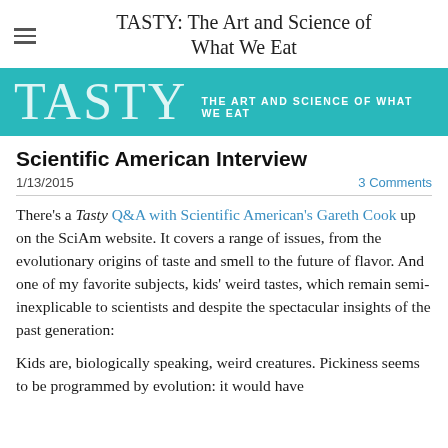TASTY: The Art and Science of What We Eat
[Figure (logo): TASTY banner with teal background showing large TASTY text and subtitle THE ART AND SCIENCE OF WHAT WE EAT]
Scientific American Interview
1/13/2015   3 Comments
There's a Tasty Q&A with Scientific American's Gareth Cook up on the SciAm website. It covers a range of issues, from the evolutionary origins of taste and smell to the future of flavor. And one of my favorite subjects, kids' weird tastes, which remain semi-inexplicable to scientists and despite the spectacular insights of the past generation:
Kids are, biologically speaking, weird creatures. Pickiness seems to be programmed by evolution: it would have protected small children from eating too many wild